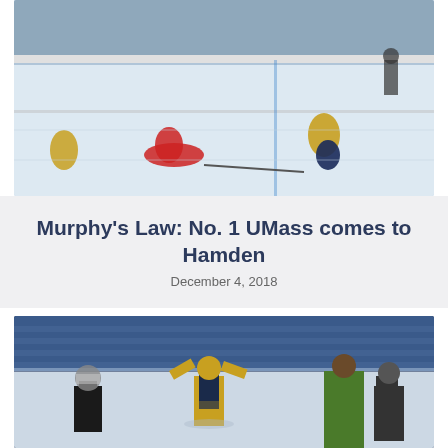[Figure (photo): Ice hockey game action photo showing players from two teams on the ice rink, one team in red and white uniforms, the other in gold and navy uniforms]
Murphy's Law: No. 1 UMass comes to Hamden
December 4, 2018
[Figure (photo): Ice hockey celebration photo showing Quinnipiac players in gold and black uniforms celebrating a goal, one player with arms raised in front of a arena with blue seats]